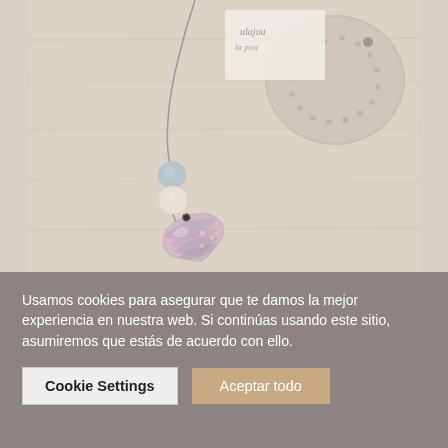[Figure (photo): Product photo showing a shell pendant necklace with beads on a wire/cord, displayed on a light wooden surface alongside a sea urchin shell and a small branded card/box with handwritten-style text.]
Usamos cookies para asegurar que te damos la mejor experiencia en nuestra web. Si continúas usando este sitio, asumiremos que estás de acuerdo con ello.
Cookie Settings
Aceptar todo